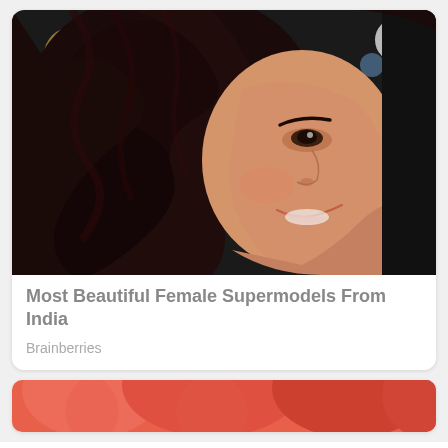[Figure (photo): Close-up photo of a smiling woman with dark wavy hair, looking over her shoulder, black background with bokeh lights]
Most Beautiful Female Supermodels From India
Brainberries
[Figure (photo): Partial image of red/pink rounded objects, cropped at top]
Get In On The Buzz
Smoothie King